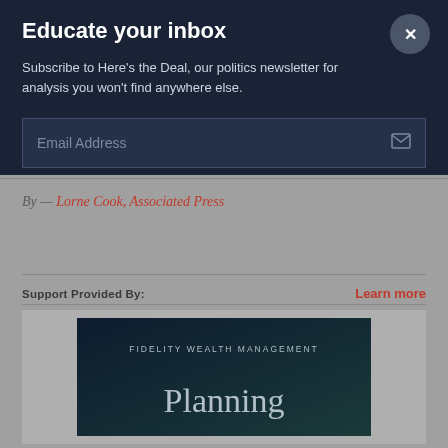Educate your inbox
Subscribe to Here's the Deal, our politics newsletter for analysis you won't find anywhere else.
Email Address
By – Lorne Cook, Associated Press
Support Provided By:
Learn more
[Figure (screenshot): Fidelity Wealth Management advertisement showing 'FIDELITY WEALTH MANAGEMENT' text and 'Planning' heading on a dark background]